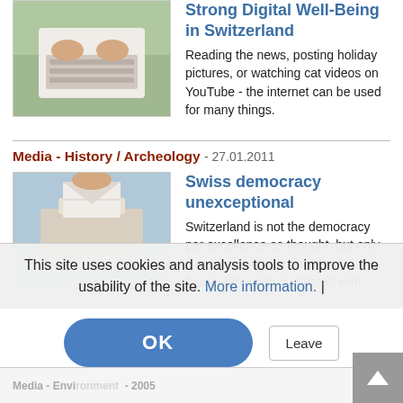[Figure (photo): Person typing on a white keyboard outdoors on grass]
Strong Digital Well-Being in Switzerland
Reading the news, posting holiday pictures, or watching cat videos on YouTube - the internet can be used for many things.
Media - History / Archeology - 27.01.2011
[Figure (photo): Hands placing a ballot into a ballot box]
Swiss democracy unexceptional
Switzerland is not the democracy par excellence as thought, but only a mediocre one and ranks fourteenth when compared with
This site uses cookies and analysis tools to improve the usability of the site. More information. |
OK
Leave
Media - Environment
Erklärung für Massenaussterben vor 540